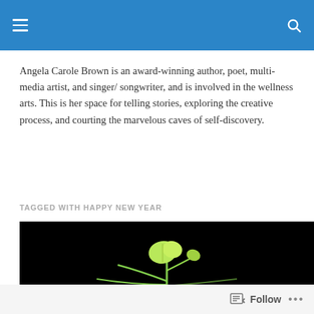Angela Carole Brown is an award-winning author, poet, multi-media artist, and singer/ songwriter, and is involved in the wellness arts. This is her space for telling stories, exploring the creative process, and courting the marvelous caves of self-discovery.
TAGGED WITH HAPPY NEW YEAR
[Figure (photo): A small green seedling with two leaves photographed against a black background.]
Follow ...